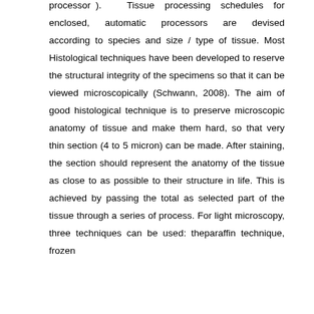processor ). Tissue processing schedules for enclosed, automatic processors are devised according to species and size / type of tissue. Most Histological techniques have been developed to reserve the structural integrity of the specimens so that it can be viewed microscopically (Schwann, 2008). The aim of good histological technique is to preserve microscopic anatomy of tissue and make them hard, so that very thin section (4 to 5 micron) can be made. After staining, the section should represent the anatomy of the tissue as close to as possible to their structure in life. This is achieved by passing the total as selected part of the tissue through a series of process. For light microscopy, three techniques can be used: theparaffin technique, frozen